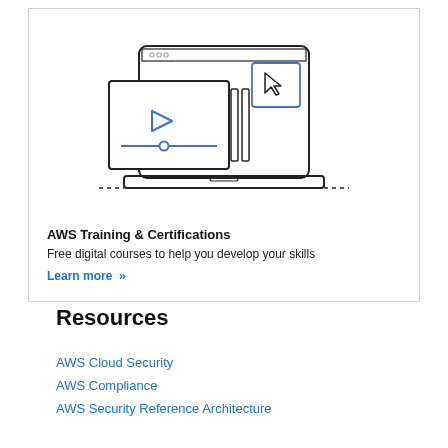[Figure (illustration): Illustration of a laptop with a video player and cursor/click graphic, representing online training courses]
AWS Training & Certifications
Free digital courses to help you develop your skills
Learn more »
Resources
AWS Cloud Security
AWS Compliance
AWS Security Reference Architecture